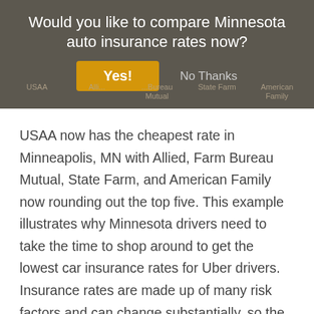Would you like to compare Minnesota auto insurance rates now?
USAA now has the cheapest rate in Minneapolis, MN with Allied, Farm Bureau Mutual, State Farm, and American Family now rounding out the top five. This example illustrates why Minnesota drivers need to take the time to shop around to get the lowest car insurance rates for Uber drivers. Insurance rates are made up of many risk factors and can change substantially, so the most economical company the last time you shopped around may now be quite expensive.